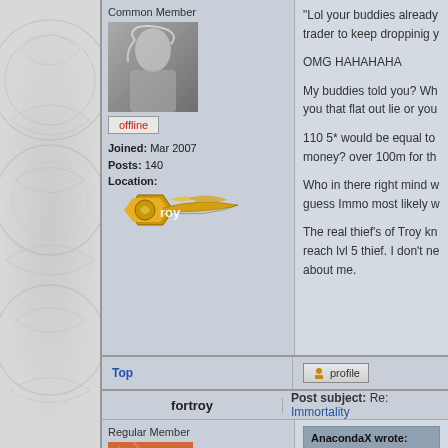Common Member
[Figure (photo): Black and white photo of a blonde woman]
offline
Joined: Mar 2007
Posts: 140
Location:
[Figure (logo): Troy game logo in gold]
"Lol your buddies already trader to keep droppinig y

OMG HAHAHAHA

My buddies told you? Wh you that flat out lie or you

110 5* would be equal to money? over 100m for th

Who in there right mind w guess Immo most likely w

The real thief's of Troy kn reach lvl 5 thief. I don't ne about me.
Top
profile
fortroy
Post subject: Re: Immortality
Regular Member
[Figure (photo): Close-up photo with orange/red tones]
AnacondaX wrote:
"Lol your buddies alre